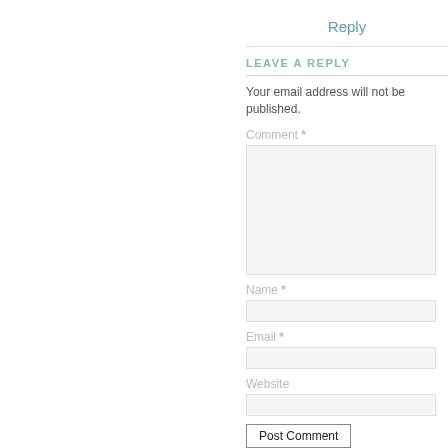Reply
LEAVE A REPLY
Your email address will not be published.
Comment *
Name *
Email *
Website
Post Comment